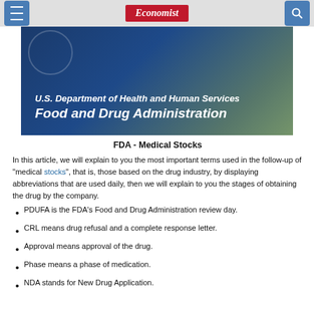Economist
[Figure (photo): Photo of a U.S. Department of Health and Human Services Food and Drug Administration building sign, dark blue background with white italic bold text.]
FDA - Medical Stocks
In this article, we will explain to you the most important terms used in the follow-up of "medical stocks", that is, those based on the drug industry, by displaying abbreviations that are used daily, then we will explain to you the stages of obtaining the drug by the company.
PDUFA is the FDA's Food and Drug Administration review day.
CRL means drug refusal and a complete response letter.
Approval means approval of the drug.
Phase means a phase of medication.
NDA stands for New Drug Application.